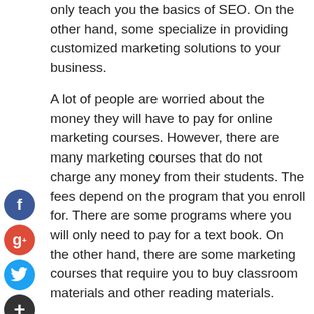only teach you the basics of SEO. On the other hand, some specialize in providing customized marketing solutions to your business.
A lot of people are worried about the money they will have to pay for online marketing courses. However, there are many marketing courses that do not charge any money from their students. The fees depend on the program that you enroll for. There are some programs where you will only need to pay for a text book. On the other hand, there are some marketing courses that require you to buy classroom materials and other reading materials.
A good marketing course should also teach you how to manage the digital marketing tools that are provided by your online marketing company. For example, some digital marketing courses teach you how to use Google AdWords to run advertising campaigns. On the